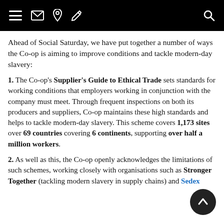[Navigation bar with hamburger menu, envelope, pin, pencil icons on left; search icon on right]
Ahead of Social Saturday, we have put together a number of ways the Co-op is aiming to improve conditions and tackle modern-day slavery:
1. The Co-op's Supplier's Guide to Ethical Trade sets standards for working conditions that employers working in conjunction with the company must meet. Through frequent inspections on both its producers and suppliers, Co-op maintains these high standards and helps to tackle modern-day slavery. This scheme covers 1,173 sites over 69 countries covering 6 continents, supporting over half a million workers.
2. As well as this, the Co-op openly acknowledges the limitations of such schemes, working closely with organisations such as Stronger Together (tackling modern slavery in supply chains) and Sedex